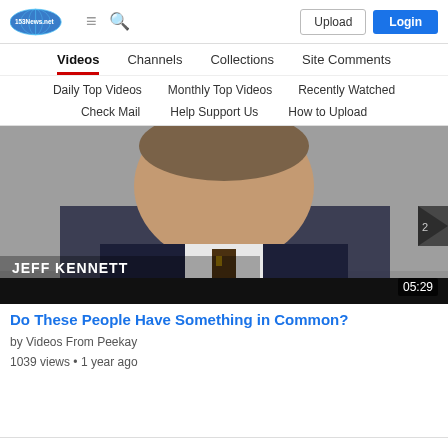153News.net — Upload | Login
Videos | Channels | Collections | Site Comments
Daily Top Videos | Monthly Top Videos | Recently Watched
Check Mail | Help Support Us | How to Upload
[Figure (screenshot): Video thumbnail of Jeff Kennett speaking, with duration overlay 05:29]
Do These People Have Something in Common?
by Videos From Peekay
1039 views • 1 year ago